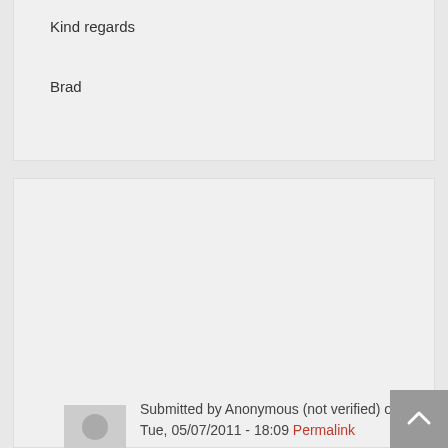Kind regards
Brad
Submitted by Anonymous (not verified) on Tue, 05/07/2011 - 18:09 Permalink
Me too
What wonderful memories. How fantastic to see some familiar names on here. Yes, I too was a 'founder' member (being in the Abraham Darby School